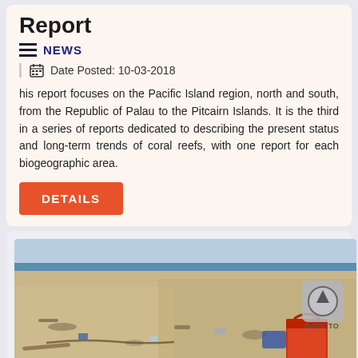Report
NEWS
Date Posted: 10-03-2018
his report focuses on the Pacific Island region, north and south, from the Republic of Palau to the Pitcairn Islands. It is the third in a series of reports dedicated to describing the present status and long-term trends of coral reefs, with one report for each biogeographic area.
DETAILS
[Figure (photo): Beach covered in debris and plastic waste with a red bucket in the foreground and ocean visible in the background]